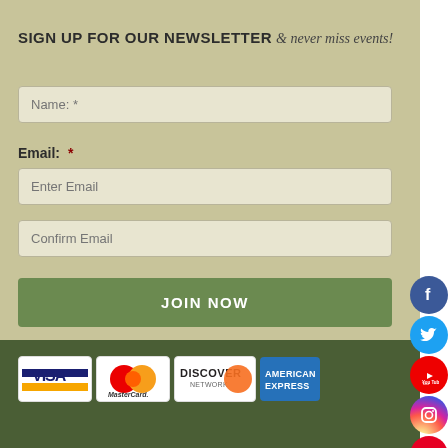SIGN UP FOR OUR NEWSLETTER & never miss events!
Name: *
Email: *
Enter Email
Confirm Email
JOIN NOW
[Figure (logo): Payment method logos: Visa, MasterCard, Discover Network, American Express]
[Figure (infographic): Social media icons column on the right: Facebook, Twitter, YouTube, Instagram, Pinterest]